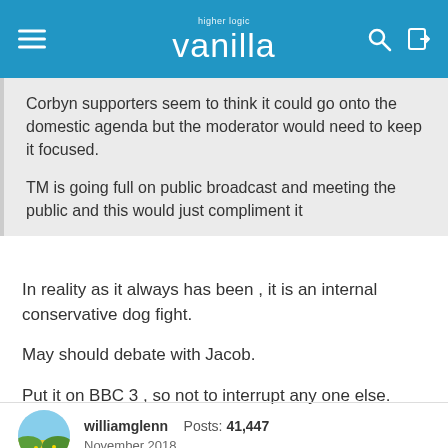higher logic vanilla — navigation bar
Corbyn supporters seem to think it could go onto the domestic agenda but the moderator would need to keep it focused.

TM is going full on public broadcast and meeting the public and this would just compliment it
In reality as it always has been , it is an internal conservative dog fight.
May should debate with Jacob.
Put it on BBC 3 , so not to interrupt any one else.
williamglenn   Posts: 41,447
November 2018